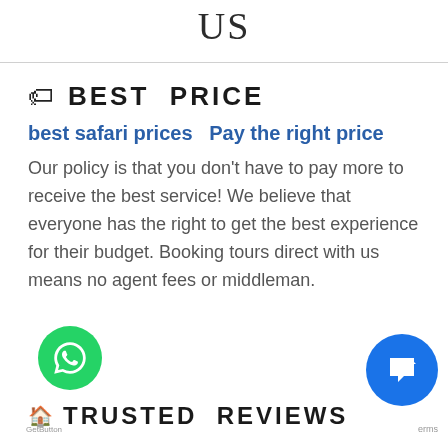US
🏷 BEST PRICE
best safari prices   Pay the right price
Our policy is that you don't have to pay more to receive the best service! We believe that everyone has the right to get the best experience for their budget. Booking tours direct with us means no agent fees or middleman.
🏠 TRUSTED REVIEWS